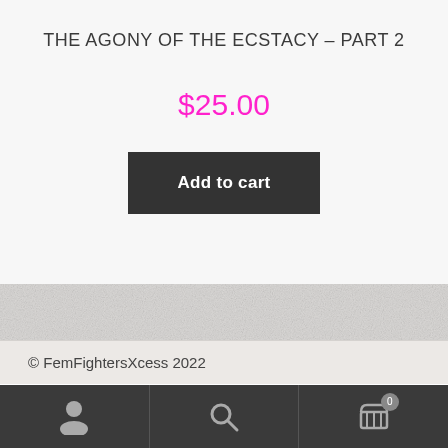THE AGONY OF THE ECSTACY – PART 2
$25.00
Add to cart
© FemFightersXcess 2022